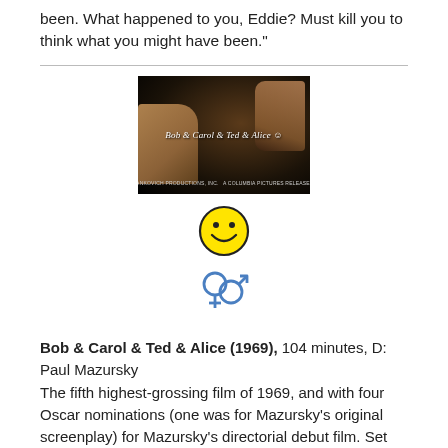been. What happened to you, Eddie? Must kill you to think what you might have been."
[Figure (screenshot): Movie title card screenshot for 'Bob & Carol & Ted & Alice', dark background with hands and italic title text overlay]
[Figure (other): Yellow smiley face emoji icon]
[Figure (other): Interlocked male/female gender symbols icon]
Bob & Carol & Ted & Alice (1969), 104 minutes, D: Paul Mazursky
The fifth highest-grossing film of 1969, and with four Oscar nominations (one was for Mazursky's original screenplay) for Mazursky's directorial debut film. Set against the time period of the late 1960s sexual revolution, this social satire starred two bourgeois couples: documentary film maker Bob Sanders